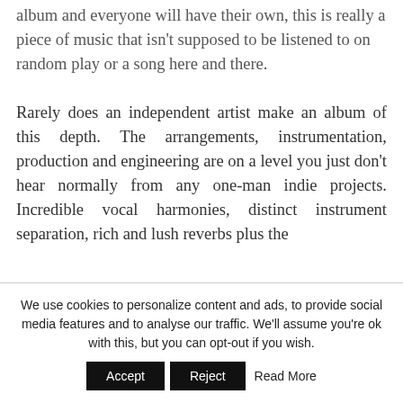album and everyone will have their own, this is really a piece of music that isn't supposed to be listened to on random play or a song here and there.
Rarely does an independent artist make an album of this depth. The arrangements, instrumentation, production and engineering are on a level you just don't hear normally from any one-man indie projects. Incredible vocal harmonies, distinct instrument separation, rich and lush reverbs plus the
We use cookies to personalize content and ads, to provide social media features and to analyse our traffic. We'll assume you're ok with this, but you can opt-out if you wish. Accept Reject Read More